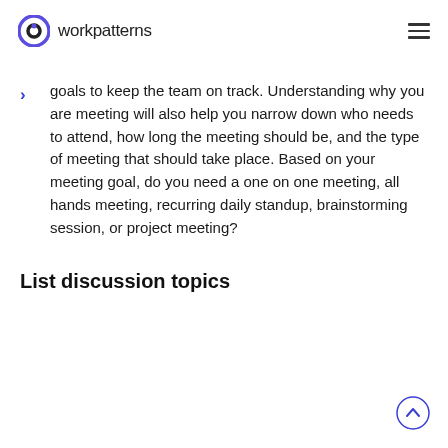workpatterns
goals to keep the team on track. Understanding why you are meeting will also help you narrow down who needs to attend, how long the meeting should be, and the type of meeting that should take place. Based on your meeting goal, do you need a one on one meeting, all hands meeting, recurring daily standup, brainstorming session, or project meeting?
List discussion topics